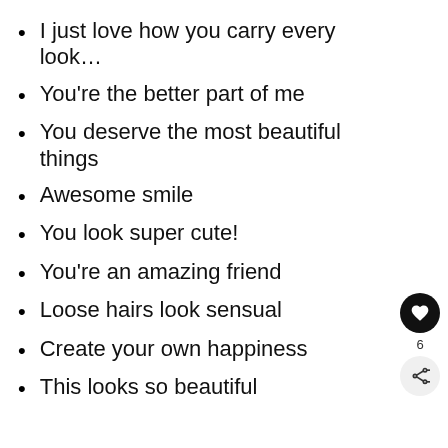I just love how you carry every look…
You're the better part of me
You deserve the most beautiful things
Awesome smile
You look super cute!
You're an amazing friend
Loose hairs look sensual
Create your own happiness
This looks so beautiful